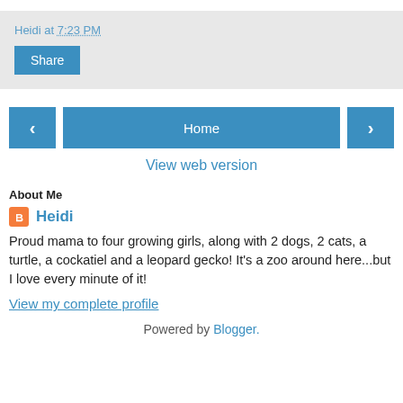Heidi at 7:23 PM
Share
‹
Home
›
View web version
About Me
Heidi
Proud mama to four growing girls, along with 2 dogs, 2 cats, a turtle, a cockatiel and a leopard gecko! It's a zoo around here...but I love every minute of it!
View my complete profile
Powered by Blogger.